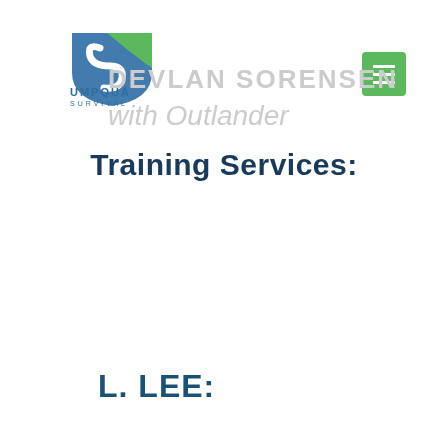[Figure (logo): Umpqua Survival logo with green shield and blue S shape, with text UMPQUA SURVIVAL below]
[Figure (other): Green hamburger menu button with three white horizontal lines]
DEVLAN SORENSEN
with Outlander
Training Services:
L. LEE: